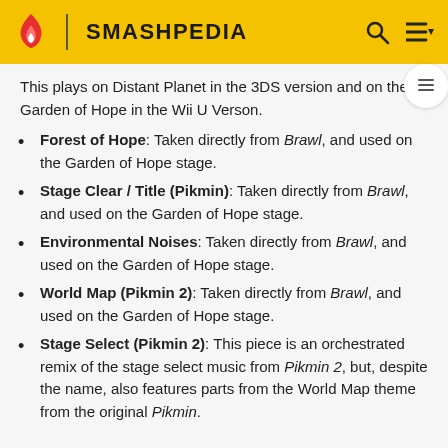SMASHPEDIA
This plays on Distant Planet in the 3DS version and on the Garden of Hope in the Wii U Verson.
Forest of Hope: Taken directly from Brawl, and used on the Garden of Hope stage.
Stage Clear / Title (Pikmin): Taken directly from Brawl, and used on the Garden of Hope stage.
Environmental Noises: Taken directly from Brawl, and used on the Garden of Hope stage.
World Map (Pikmin 2): Taken directly from Brawl, and used on the Garden of Hope stage.
Stage Select (Pikmin 2): This piece is an orchestrated remix of the stage select music from Pikmin 2, but, despite the name, also features parts from the World Map theme from the original Pikmin.